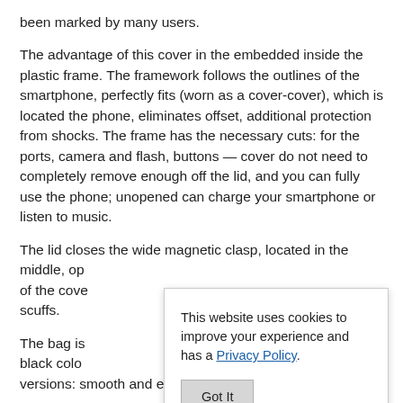been marked by many users.
The advantage of this cover in the embedded inside the plastic frame. The framework follows the outlines of the smartphone, perfectly fits (worn as a cover-cover), which is located the phone, eliminates offset, additional protection from shocks. The frame has the necessary cuts: for the ports, camera and flash, buttons — cover do not need to completely remove enough off the lid, and you can fully use the phone; unopened can charge your smartphone or listen to music.
The lid closes the wide magnetic clasp, located in the middle, op of the cove scuffs.
The bag is black colo versions: smooth and embossed (large) — textured look
This website uses cookies to improve your experience and has a Privacy Policy.